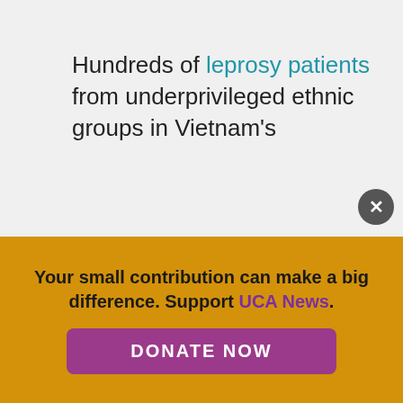Hundreds of leprosy patients from underprivileged ethnic groups in Vietnam's [partially obscured] with food, gifts, [partially obscured] run
[Figure (screenshot): Advertisement panel for 'The Pontificate' ebook by La Civiltà Cattolica, showing the dome of St. Peter's Basilica. Features a dark brown vertical sidebar labeled 'SPECIAL EBOOK' with a close (X) button. Also shows UCAN store logo popup.]
[partially obscured] tagious [partially obscured] t to [partially obscured] n de [partially obscured] Tum City.
Your small contribution can make a big difference. Support UCA News.
DONATE NOW